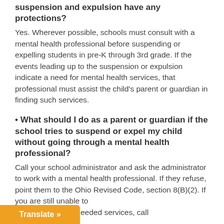suspension and expulsion have any protections?
Yes. Wherever possible, schools must consult with a mental health professional before suspending or expelling students in pre-K through 3rd grade. If the events leading up to the suspension or expulsion indicate a need for mental health services, that professional must assist the child's parent or guardian in finding such services.
• What should I do as a parent or guardian if the school tries to suspend or expel my child without going through a mental health professional?
Call your school administrator and ask the administrator to work with a mental health professional. If they refuse, point them to the Ohio Revised Code, section 8(B)(2). If you are still unable to get your child the needed services, call
Translate »